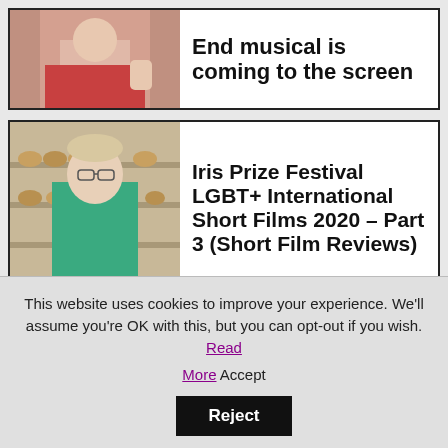[Figure (photo): Partial top card showing a person with colorful appearance, only lower portion visible]
End musical is coming to the screen
[Figure (photo): Man in green shirt standing in front of shelves with baked goods]
Iris Prize Festival LGBT+ International Short Films 2020 – Part 3 (Short Film Reviews)
[Figure (photo): Black and white photo of a woman's face, looking slightly to the side]
Iris Prize Festival LGBT+ International Short Films 2020 – Part (Short Film...
This website uses cookies to improve your experience. We'll assume you're OK with this, but you can opt-out if you wish. Read More Accept Reject